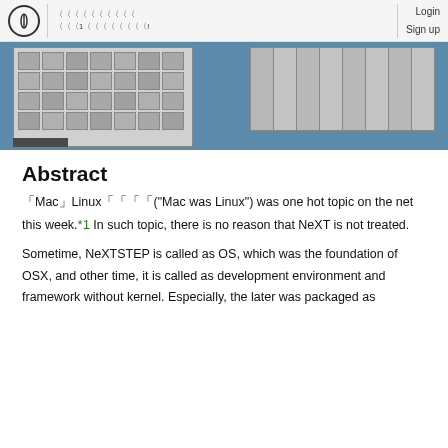Login Sign up
[Figure (screenshot): Screenshot of a NeXTSTEP desktop interface showing application icons grid and a panel with vertical stripes, on a blue-grey background.]
Abstract
「Mac」Linux「「「「("Mac was Linux") was one hot topic on the net this week.*1 In such topic, there is no reason that NeXT is not treated.
Sometime, NeXTSTEP is called as OS, which was the foundation of OSX, and other time, it is called as development environment and framework without kernel. Especially, the later was packaged as